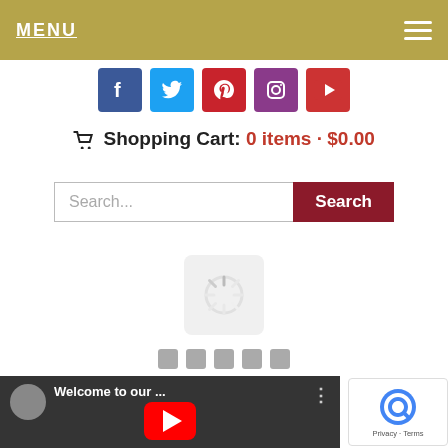MENU
[Figure (screenshot): Social media icons row: Facebook (blue), Twitter (light blue), Pinterest (red), Instagram (purple), YouTube (red)]
Shopping Cart: 0 items · $0.00
[Figure (screenshot): Search input field with placeholder 'Search...' and a dark red Search button]
[Figure (screenshot): Loading spinner icon in a rounded square on gray background with five gray pagination dots below]
[Figure (screenshot): YouTube video thumbnail showing 'Welcome to our ...' with a red play button and three-dot menu, partially visible]